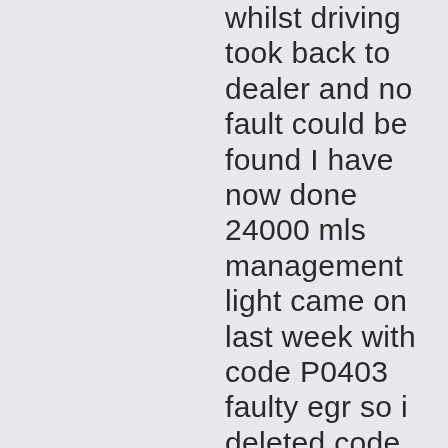whilst driving took back to dealer and no fault could be found I have now done 24000 mls management light came on last week with code P0403 faulty egr so i deleted code and